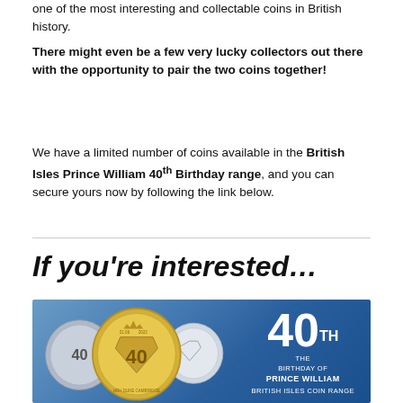one of the most interesting and collectable coins in British history.
There might even be a few very lucky collectors out there with the opportunity to pair the two coins together!
We have a limited number of coins available in the British Isles Prince William 40th Birthday range, and you can secure yours now by following the link below.
If you're interested…
[Figure (photo): Promotional image showing three silver/gold coins for the British Isles Prince William 40th Birthday coin range on a blue gradient background, with text '40TH THE BIRTHDAY OF PRINCE WILLIAM BRITISH ISLES COIN RANGE']